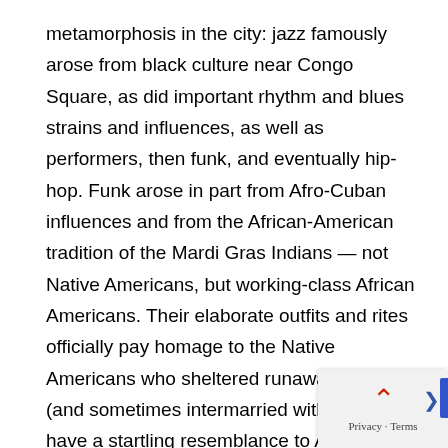metamorphosis in the city: jazz famously arose from black culture near Congo Square, as did important rhythm and blues strains and influences, as well as performers, then funk, and eventually hip-hop. Funk arose in part from Afro-Cuban influences and from the African-American tradition of the Mardi Gras Indians — not Native Americans, but working-class African Americans. Their elaborate outfits and rites officially pay homage to the Native Americans who sheltered runaway slaves (and sometimes intermarried with them), but have a startling resemblance to African beaded costumes. The Mardi Gras Indians still parade on that day and other days, chanting and singing, challenging each other through song. One of the recurrent chants declares, “We won’t bow down.”
Though New Orleans is mainly famous for other things, it has also been a city of resistance — from the slave revolts of the late eighteenth and early nineteenth centuries to late nineteenth ce... segregation-breaker Homer Plessy to Ruby Bridges, the six-ye... who in 1960 was the first Black child to integrate a white school in the...